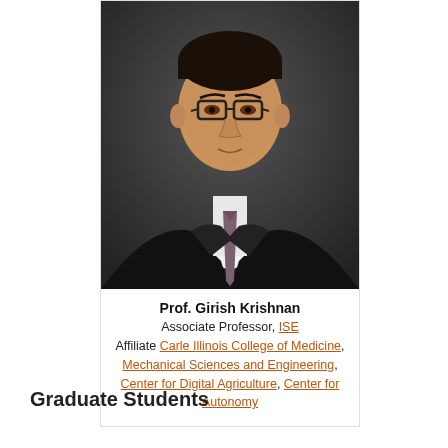[Figure (photo): Professional headshot of Prof. Girish Krishnan, a man in a dark suit and grey tie with glasses, against a dark background.]
Prof. Girish Krishnan
Associate Professor, ISE
Affiliate Carle Illinois College of Medicine, Mechanical Sciences and Engineering, Center for Digital Agriculture, Center for Autonomy
Graduate Students